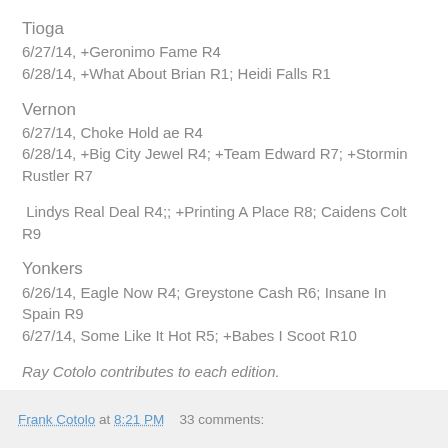Tioga
6/27/14, +Geronimo Fame R4
6/28/14, +What About Brian R1; Heidi Falls R1
Vernon
6/27/14, Choke Hold ae R4
6/28/14, +Big City Jewel R4; +Team Edward R7; +Stormin Rustler R7
Lindys Real Deal R4;; +Printing A Place R8; Caidens Colt R9
Yonkers
6/26/14, Eagle Now R4; Greystone Cash R6; Insane In Spain R9
6/27/14, Some Like It Hot R5; +Babes I Scoot R10
Ray Cotolo contributes to each edition.
Frank Cotolo at 8:21 PM   33 comments: